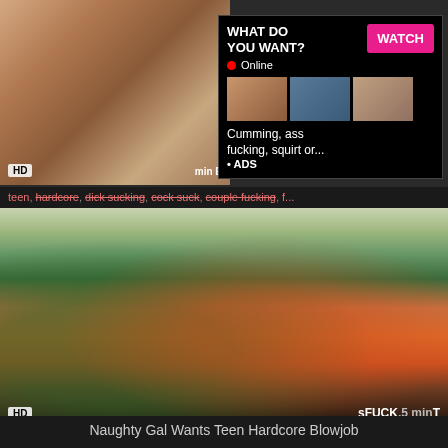[Figure (screenshot): Adult video thumbnail showing woman, with HD badge overlay]
[Figure (screenshot): Advertisement overlay: WHAT DO YOU WANT? WATCH button, Online indicator, thumbnail images, text 'Cumming, ass fucking, squirt or... ADS']
teen, hardcore, dick sucking, cock suck, couple fucking, f...
[Figure (screenshot): Adult video thumbnail showing couple on orange sofa with plants, HD badge, sFUCK .NET branding, 5 min duration]
Naughty Gal Wants Teen Hardcore Blowjob